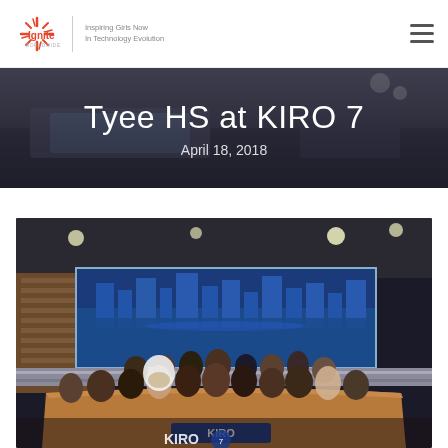Ignite Worldwide — Inspiring Girls Now In Technology Evolution
Tyee HS at KIRO 7
April 18, 2018
[Figure (photo): Group photo of Tyee High School students and chaperones standing on the KIRO 7 news studio set, in front of a large blue LED display screen showing a city skyline. The students are gathered around the anchor desk with KIRO branding visible in the foreground.]